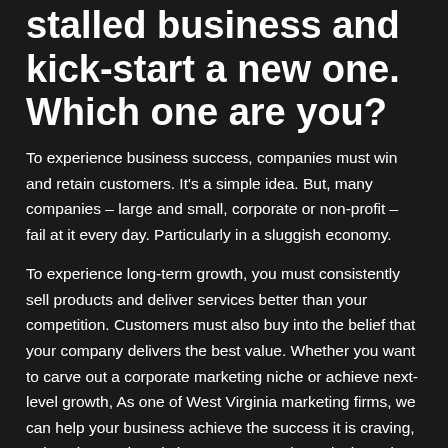stalled business and kick-start a new one. Which one are you?
To experience business success, companies must win and retain customers. It’s a simple idea. But, many companies – large and small, corporate or non-profit – fail at it every day. Particularly in a sluggish economy.
To experience long-term growth, you must consistently sell products and deliver services better than your competition. Customers must also buy into the belief that your company delivers the best value. Whether you want to carve out a corporate marketing niche or achieve next-level growth, As one of West Virginia marketing firms, we can help your business achieve the success it is craving, pain points and goals in your own words. Only then, do we began work on the next steps of your strategic marketing plan.